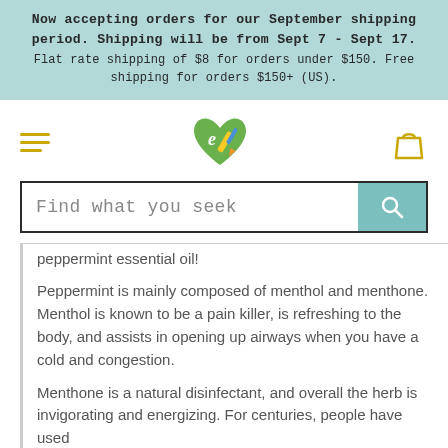Now accepting orders for our September shipping period. Shipping will be from Sept 7 - Sept 17. Flat rate shipping of $8 for orders under $150. Free shipping for orders $150+ (US).
[Figure (logo): Stylized heart logo with green and colorful crayon/pencil icon, and a shopping bag icon on the right, with hamburger menu lines on the left]
Find what you seek
peppermint essential oil!
Peppermint is mainly composed of menthol and menthone. Menthol is known to be a pain killer, is refreshing to the body, and assists in opening up airways when you have a cold and congestion.
Menthone is a natural disinfectant, and overall the herb is invigorating and energizing. For centuries, people have used